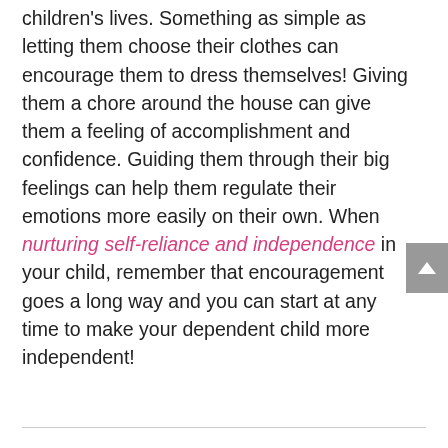children's lives. Something as simple as letting them choose their clothes can encourage them to dress themselves! Giving them a chore around the house can give them a feeling of accomplishment and confidence. Guiding them through their big feelings can help them regulate their emotions more easily on their own. When nurturing self-reliance and independence in your child, remember that encouragement goes a long way and you can start at any time to make your dependent child more independent!